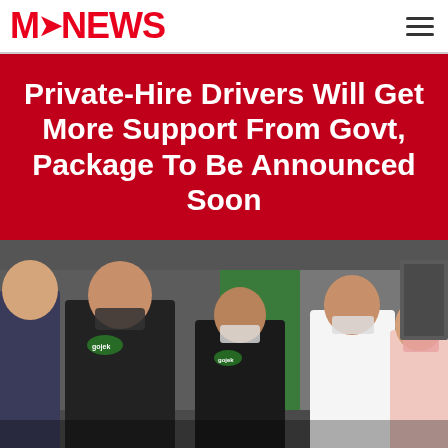MS NEWS
Private-Hire Drivers Will Get More Support From Govt, Package To Be Announced Soon
[Figure (photo): Several people wearing face masks inside what appears to be a Gojek Singapore office or service center. Two people wearing black Gojek Singapore t-shirts are visible on the left and center, a man in a white shirt and a woman in a light pink blouse are on the right. The background shows green and grey wall panels and some signage.]